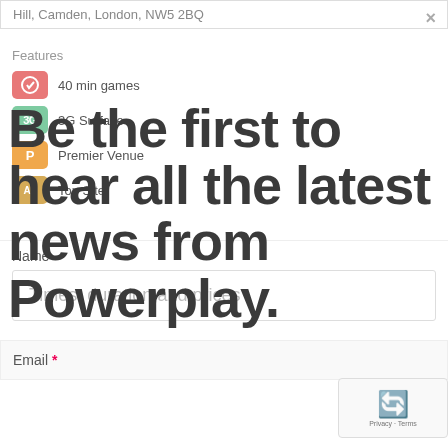Hill, Camden, London, NW5 2BQ
Features
40 min games
3G Surface
Premier Venue
Top Site
Name
Times, duration and prices
Email *
Mon 5s 5-a-side  40mins  56.00
Be the first to hear all the latest news from Powerplay.